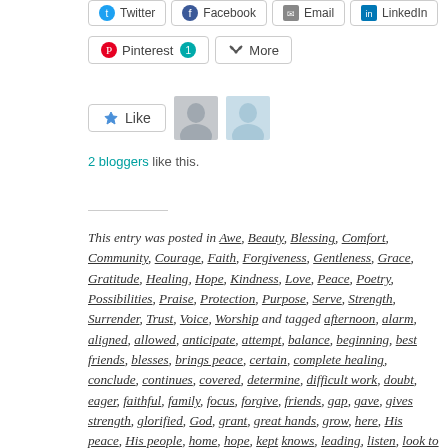[Figure (screenshot): Social share buttons: Twitter, Facebook, Email, LinkedIn at top; Pinterest (1) and More buttons below]
[Figure (screenshot): Like button with two blogger avatar thumbnails]
2 bloggers like this.
This entry was posted in Awe, Beauty, Blessing, Comfort, Community, Courage, Faith, Forgiveness, Gentleness, Grace, Gratitude, Healing, Hope, Kindness, Love, Peace, Poetry, Possibilities, Praise, Protection, Purpose, Serve, Strength, Surrender, Trust, Voice, Worship and tagged afternoon, alarm, aligned, allowed, anticipate, attempt, balance, beginning, best friends, blesses, brings peace, certain, complete healing, conclude, continues, covered, determine, difficult work, doubt, eager, faithful, family, focus, forgive, friends, gap, gave, gives strength, glorified, God, grant, great hands, grow, here, His peace, His people, home, hope, kept knows, leading, listen, look to You, Lord, love, loving kindness, manicure, mom, need, needed, neither, next step